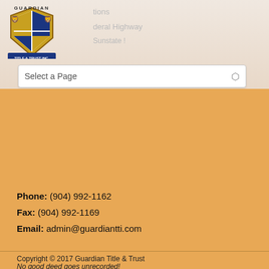[Figure (logo): Guardian Title and Trust Inc. shield logo with lions]
Select a Page
Phone: (904) 992-1162
Fax: (904) 992-1169
Email: admin@guardiantti.com
[Figure (photo): American Land Title Association logo - red header with blue text and eagle illustration]
[Figure (photo): Sempar Title Society diamond shaped badge with Florida outline]
[Figure (screenshot): Guardian Title login screen with email, password fields and login button]
Copyright © 2017 Guardian Title & Trust

No good deed goes unrecorded!